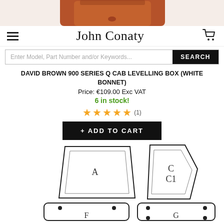[Figure (photo): Partial view of a brown leather/rubber part (cab levelling box component), cropped at top of page]
John Conaty
Enter Model, Part Number and/or Keywords...
DAVID BROWN 900 SERIES Q CAB LEVELLING BOX (WHITE BONNET)
Price: €109.00 Exc VAT
6 in stock!
★★★★★ (1)
+ ADD TO CART
[Figure (engineering-diagram): Technical line drawing showing cab parts labeled A, C, C1, F, G — trapezoidal and rectangular panel shapes with mounting holes]